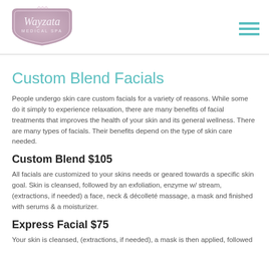[Figure (logo): Wayzata Medical Spa logo in a decorative badge/shield shape, mauve/purple color with script font]
Custom Blend Facials
People undergo skin care custom facials for a variety of reasons. While some do it simply to experience relaxation, there are many benefits of facial treatments that improves the health of your skin and its general wellness. There are many types of facials. Their benefits depend on the type of skin care needed.
Custom Blend $105
All facials are customized to your skins needs or geared towards a specific skin goal. Skin is cleansed, followed by an exfoliation, enzyme w/ stream, (extractions, if needed) a face, neck & décolleté massage, a mask and finished with serums & a moisturizer.
Express Facial $75
Your skin is cleansed, (extractions, if needed), a mask is then applied, followed